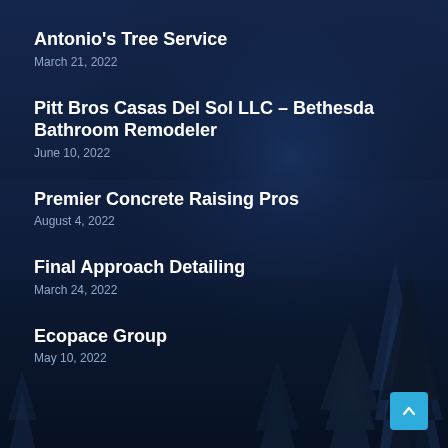Antonio's Tree Service
March 21, 2022
Pitt Bros Casas Del Sol LLC – Bethesda Bathroom Remodeler
June 10, 2022
Premier Concrete Raising Pros
August 4, 2022
Final Approach Detailing
March 24, 2022
Ecopace Group
May 10, 2022